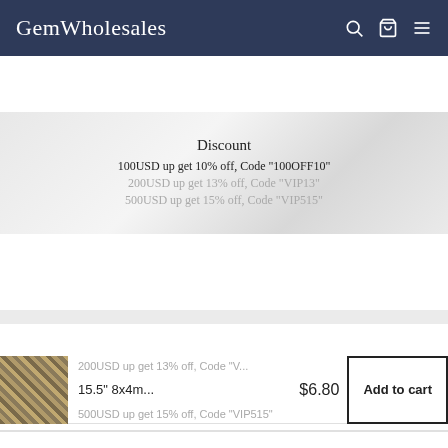GemWholesales
Discount
100USD up get 10% off, Code "100OFF10"
200USD up get 13% off, Code "VIP13"
500USD up get 15% off, Code "VIP515"
15.5" 8x4m...  $6.80  Add to cart
1
Subscribe today and get 10% off your first purchase
Enter your email